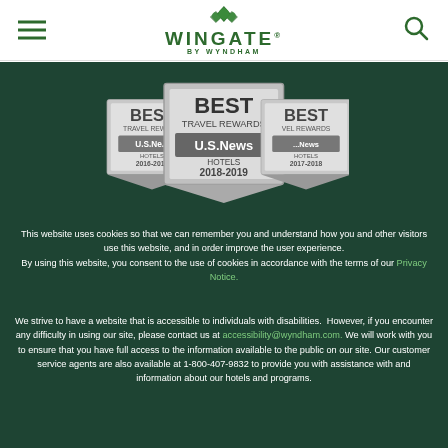WINGATE BY WYNDHAM
[Figure (logo): Wingate by Wyndham logo with green leaf/diamond icon above the text WINGATE and BY WYNDHAM below]
[Figure (illustration): Three overlapping U.S. News Best Travel Rewards Hotels award badges: 2016-2017, 2018-2019 (center, largest), and 2017-2018]
This website uses cookies so that we can remember you and understand how you and other visitors use this website, and in order improve the user experience. By using this website, you consent to the use of cookies in accordance with the terms of our Privacy Notice.
We strive to have a website that is accessible to individuals with disabilities. However, if you encounter any difficulty in using our site, please contact us at accessibility@wyndham.com. We will work with you to ensure that you have full access to the information available to the public on our site. Our customer service agents are also available at 1-800-407-9832 to provide you with assistance with and information about our hotels and programs.